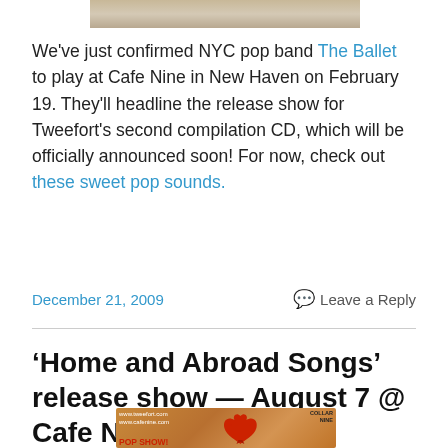[Figure (photo): Partial photo at top of page, cropped]
We've just confirmed NYC pop band The Ballet to play at Cafe Nine in New Haven on February 19. They'll headline the release show for Tweefort's second compilation CD, which will be officially announced soon! For now, check out these sweet pop sounds.
December 21, 2009
Leave a Reply
'Home and Abroad Songs' release show — August 7 @ Cafe Nine
[Figure (photo): Flyer image for pop show at Cafe Nine with www.tweefort.com, www.cafenine.com, POP SHOW! text and red bird illustration]